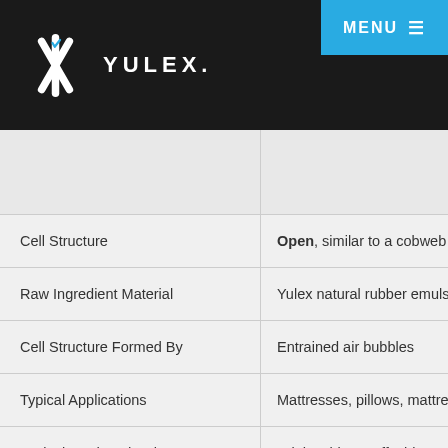[Figure (logo): Yulex logo with white snowflake/asterisk symbol and YULEX. wordmark on dark background, with blue MENU button top right]
|  |  |
| --- | --- |
|  |  |
| Cell Structure | Open, similar to a cobweb wh… |
| Raw Ingredient Material | Yulex natural rubber emulsion… |
| Cell Structure Formed By | Entrained air bubbles |
| Typical Applications | Mattresses, pillows, mattress… |
| Typical Produced Color | Bright white to off-white |
| Yulex Branded Products | YULEX® OC open cell foams |